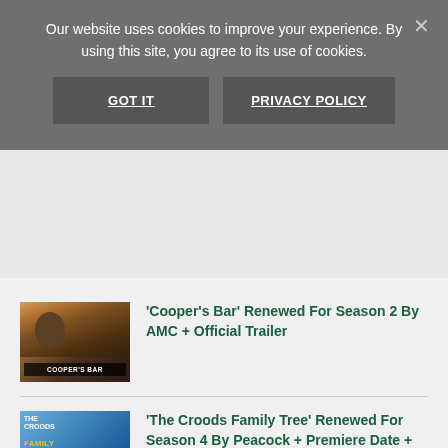Our website uses cookies to improve your experience. By using this site, you agree to its use of cookies.
GOT IT
PRIVACY POLICY
'Cooper’s Bar' Renewed For Season 2 By AMC + Official Trailer
[Figure (photo): Thumbnail image for Cooper's Bar article showing people at a bar with 'COOPER'S BAR' text overlay]
'The Croods Family Tree' Renewed For Season 4 By Peacock + Premiere Date + Official Trailer
[Figure (photo): Thumbnail image for The Croods Family Tree article showing animated movie art with 'THE CROODS FAMILY TREE' text]